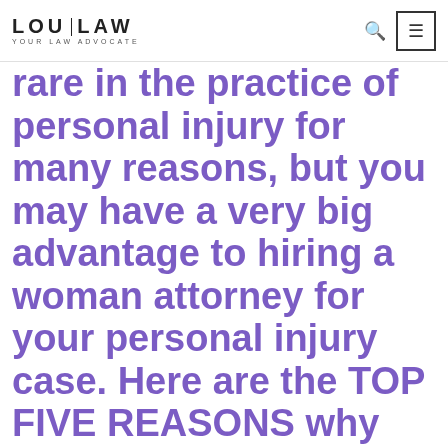LOU LAW YOUR LAW ADVOCATE
rare in the practice of personal injury for many reasons, but you may have a very big advantage to hiring a woman attorney for your personal injury case. Here are the TOP FIVE REASONS why you want to hire a woman attorney for your Florida case.